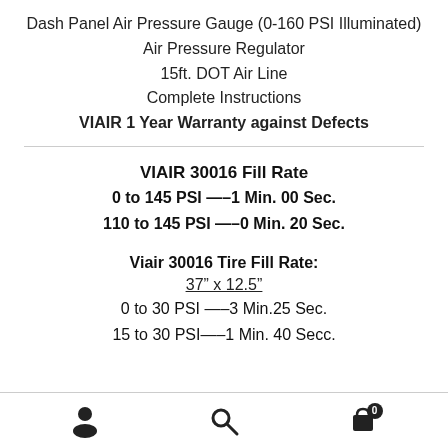Dash Panel Air Pressure Gauge (0-160 PSI Illuminated)
Air Pressure Regulator
15ft. DOT Air Line
Complete Instructions
VIAIR 1 Year Warranty against Defects
VIAIR 30016 Fill Rate
0 to 145 PSI —–1 Min. 00 Sec.
110 to 145 PSI —–0 Min. 20 Sec.
Viair 30016 Tire Fill Rate:
37” x 12.5”
0 to 30 PSI —–3 Min.25 Sec.
15 to 30 PSI—–1 Min. 40 Secc.
Navigation footer with person, search, and cart (0) icons